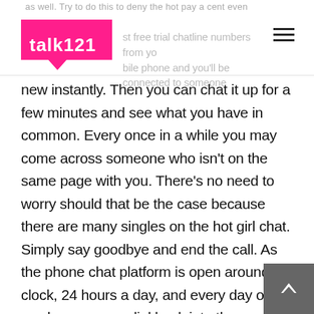talk121 — best free trial chatline numbers from your mobile phone and you'll be connected to someone
new instantly. Then you can chat it up for a few minutes and see what you have in common. Every once in a while you may come across someone who isn't on the same page with you. There's no need to worry should that be the case because there are many singles on the hot girl chat. Simply say goodbye and end the call. As the phone chat platform is open around the clock, 24 hours a day, and every day of the week, you can redial back into the chatlines free platform whenever you see fit. Have as much saucy phone sex that you can muster and get over you soon.